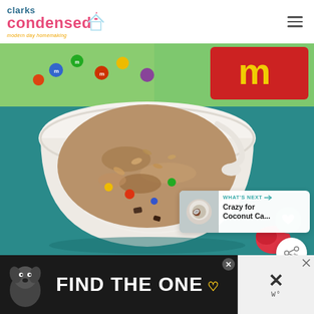[Figure (logo): Clarks Condensed blog logo with house icon and tagline 'modern day homemaking']
[Figure (photo): Close-up photo of a white ramekin bowl containing a baked oatmeal dessert with M&M candies, on a teal wooden surface, with M&M bag in background]
[Figure (infographic): What's Next panel showing thumbnail and text 'Crazy for Coconut Ca...']
[Figure (screenshot): Advertisement banner: dark background with dog image and text 'FIND THE ONE' with heart icon]